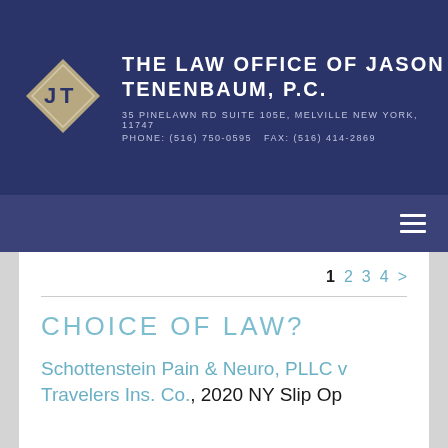THE LAW OFFICE OF JASON TENENBAUM, P.C. | 35 PINELAWN RD SUITE 105E, MELVILLE NEW YORK, 11747 | PHONE: (516) 750-0595  FAX: (516) 414-2869
CHOICE OF LAW?
Schottenstein Pain & Neuro, PLLC v Travelers Ins. Co., 2020 NY Slip Op